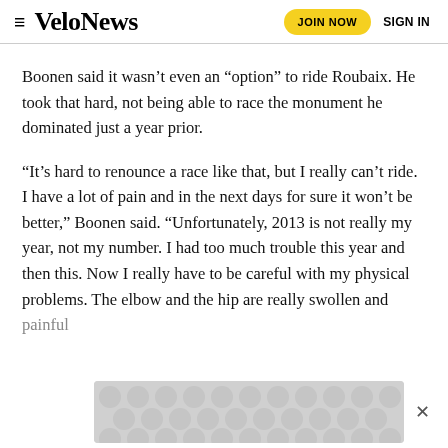VeloNews | JOIN NOW | SIGN IN
Boonen said it wasn't even an “option” to ride Roubaix. He took that hard, not being able to race the monument he dominated just a year prior.
“It’s hard to renounce a race like that, but I really can’t ride. I have a lot of pain and in the next days for sure it won’t be better,” Boonen said. “Unfortunately, 2013 is not really my year, not my number. I had too much trouble this year and then this. Now I really have to be careful with my physical problems. The elbow and the hip are really swollen and painful
[Figure (other): Advertisement overlay with circular pattern grey background and close button]